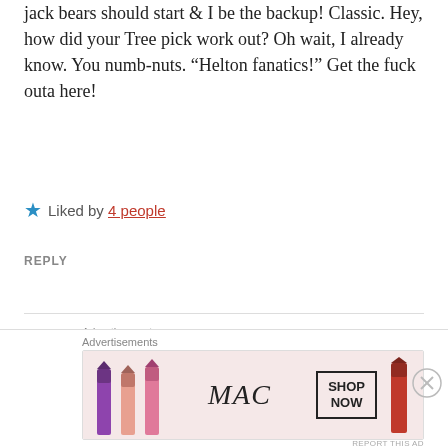jack bears should start & I be the backup! Classic. Hey, how did your Tree pick work out? Oh wait, I already know. You numb-nuts. “Helton fanatics!” Get the fuck outa here!
★ Liked by 4 people
REPLY
[Figure (infographic): WordPress advertisement banner with gradient background (blue to green-yellow). Text reads 'Create immersive stories.' with 'GET THE APP' and WordPress logo on the right.]
Advertisements
Troianhooos
Advertisements
[Figure (infographic): MAC Cosmetics advertisement showing lipsticks in purple, peach, and pink colors with MAC logo and 'SHOP NOW' box. A red lipstick on the right.]